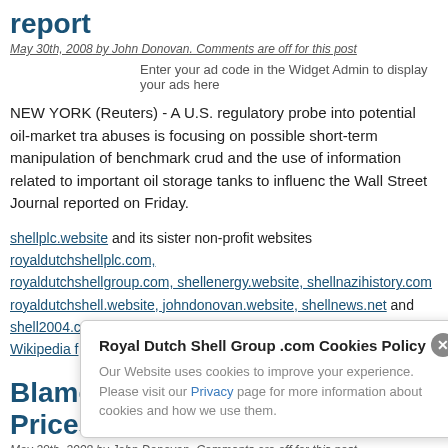report
May 30th, 2008 by John Donovan. Comments are off for this post
Enter your ad code in the Widget Admin to display your ads here
NEW YORK (Reuters) - A U.S. regulatory probe into potential oil-market trading abuses is focusing on possible short-term manipulation of benchmark crude prices and the use of information related to important oil storage tanks to influence prices, the Wall Street Journal reported on Friday.
shellplc.website and its sister non-profit websites royaldutchshellplc.com, royaldutchshellgroup.com, shellenergy.website, shellnazihistory.com royaldutchshell.website, johndonovan.website, shellnews.net and shell2004.com are owned by John Donovan. There is also a Wikipedia f
Blame Congress for High Oil Prices
May 29th, 2008 by John Donovan. Comments are off for this post
Gasoline prices are through the roof and Americans are angry. Someone m to blame who the politicians claim is Big Oil, who is alleged about to gouge co... is in a mo... s for sh tria... ts tax.' the... it is Congress itself
Royal Dutch Shell Group .com Cookies Policy
Our Website uses cookies to improve your experience. Please visit our Privacy page for more information about cookies and how we use them.